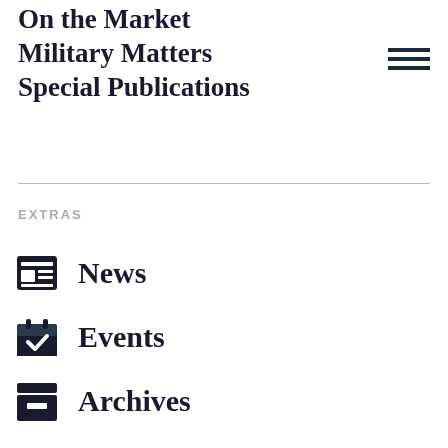On the Market
Military Matters
Special Publications
EXTRAS
News
Events
Archives